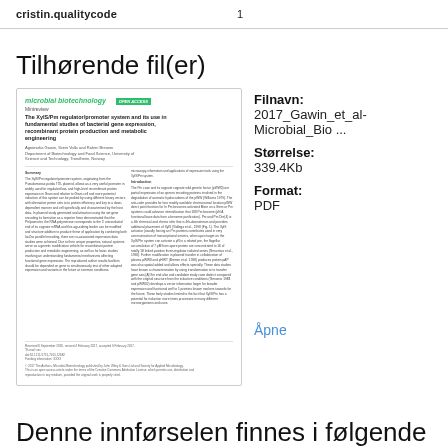cristin.qualitycode   1
Tilhørende fil(er)
[Figure (screenshot): Thumbnail preview of a scientific article from Microbial Biotechnology journal. Title: The XylS/Pm regulator/promoter system and its use in fundamental studies of bacterial gene expression, recombinant protein production and metabolic engineering. Minireview format with two-column body text.]
Filnavn:
2017_Gawin_et_al-Microbial_Bio ...
Størrelse:
339.4Kb
Format:
PDF
Åpne
Denne innførselen finnes i følgende